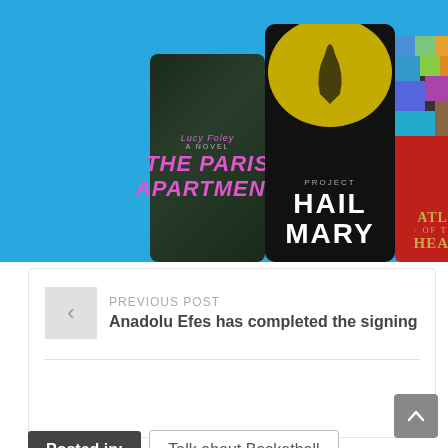[Figure (screenshot): Blue banner showing a row of book covers: The Paris Apartment, Project Hail Mary, and Atlas of the Heart]
PREVIOUS POST
Anadolu Efes has completed the signing
Posted in:
Talk about Basketball
TAGS:
Basketball